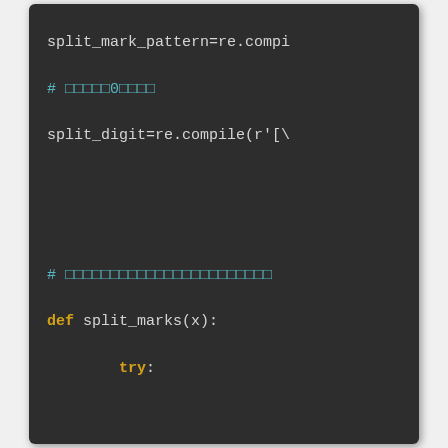[Figure (screenshot): Code editor screenshot showing Python code with syntax highlighting on dark background. Contains split_mark_pattern=re.compi..., a comment in CJK characters, split_digit=re.compile(r'[\..., a comment, def split_marks(x): function with try/except blocks, a comment, and def output(mes,source_ids,t... function with inner comment and input_data = split_...]